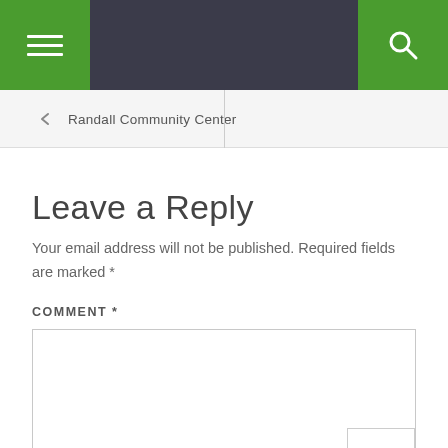[Figure (screenshot): Navigation bar with hamburger menu on left and search icon on right, both on green backgrounds, dark gray bar]
Randall Community Center
Leave a Reply
Your email address will not be published. Required fields are marked *
COMMENT *
[Figure (screenshot): Empty comment text area input box with resize handle in bottom right corner]